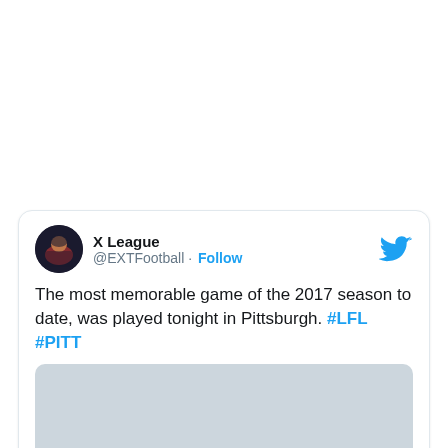[Figure (screenshot): Tweet card from X League (@EXTFootball) with avatar, Follow button, Twitter bird logo, tweet text about 2017 season game in Pittsburgh with hashtags #LFL #PITT, and a light gray image placeholder below.]